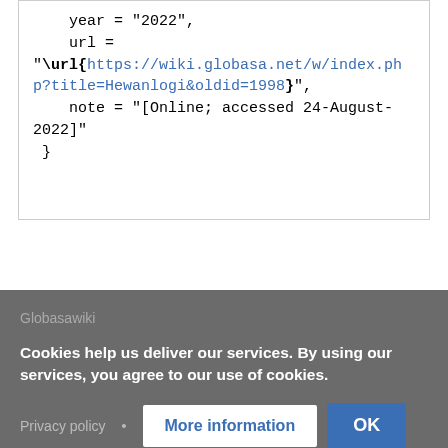year = "2022",
    url =
"\url{https://wiki.globasa.net/w/index.php?title=Hewanlogi&oldid=1998}",
    note = "[Online; accessed 24-August-2022]"
 }
Cookies help us deliver our services. By using our services, you agree to our use of cookies.
Privacy policy • More information OK